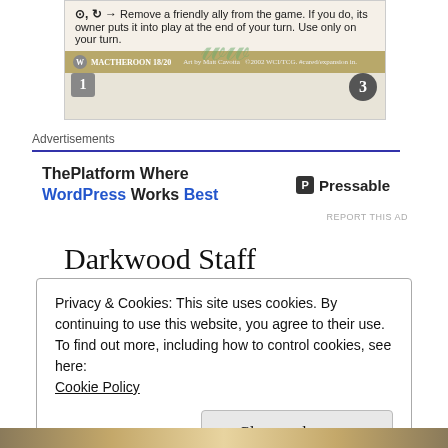[Figure (photo): A trading card showing symbols and text: 'Remove a friendly ally from the game. If you do, its owner puts it into play at the end of your turn. Use only on your turn.' Card named MACTHEROON with stats 1/3.]
Advertisements
[Figure (other): Advertisement banner: 'ThePlatform Where WordPress Works Best' with Pressable logo on the right]
REPORT THIS AD
Darkwood Staff
Privacy & Cookies: This site uses cookies. By continuing to use this website, you agree to their use.
To find out more, including how to control cookies, see here:
Cookie Policy
Close and accept
[Figure (photo): Bottom portion of a fantasy/game image showing characters]